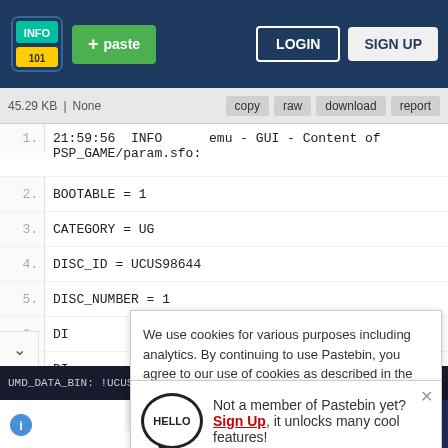+ paste   LOGIN   SIGN UP
45.29 KB | None   copy  raw  download  report
1. 21:59:56  INFO      emu - GUI - Content of PSP_GAME/param.sfo:
2. BOOTABLE = 1
3. CATEGORY = UG
4. DISC_ID = UCUS98644
5. DISC_NUMBER = 1
6. DI
7. DI
8. PA
9. PSP_SYSTEM_VER = 2.71
10. RE
11. TI
12. 21
We use cookies for various purposes including analytics. By continuing to use Pastebin, you agree to our use of cookies as described in the Cookies Policy.  OK, I Understand
Not a member of Pastebin yet? Sign Up, it unlocks many cool features!
UMD_DATA_BIN: !UCUS_98644!Z33A49A358137B4E!00:
Zemanta
Zemanta